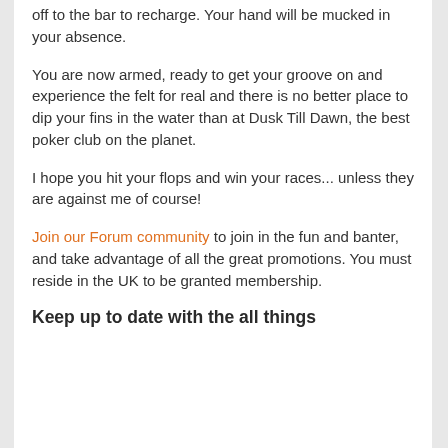off to the bar to recharge. Your hand will be mucked in your absence.
You are now armed, ready to get your groove on and experience the felt for real and there is no better place to dip your fins in the water than at Dusk Till Dawn, the best poker club on the planet.
I hope you hit your flops and win your races... unless they are against me of course!
Join our Forum community to join in the fun and banter, and take advantage of all the great promotions. You must reside in the UK to be granted membership.
Keep up to date with the all things